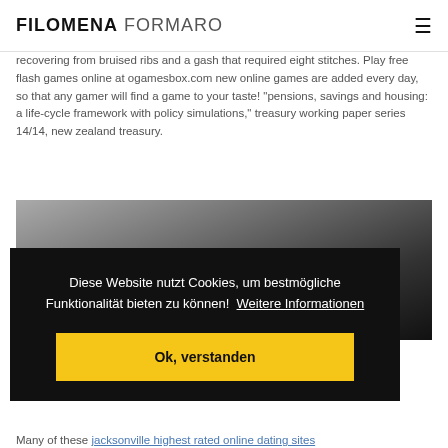FILOMENA FORMARO
recovering from bruised ribs and a gash that required eight stitches. Play free flash games online at ogamesbox.com new online games are added every day, so that any gamer will find a game to your taste! “pensions, savings and housing: a life-cycle framework with policy simulations,” treasury working paper series 14/14, new zealand treasury.
[Figure (photo): Grayscale close-up photo of a woman with dark hair]
Diese Website nutzt Cookies, um bestmögliche Funktionalität bieten zu können! Weitere Informationen
Ok, verstanden
Many of these jacksonville highest rated online dating sites